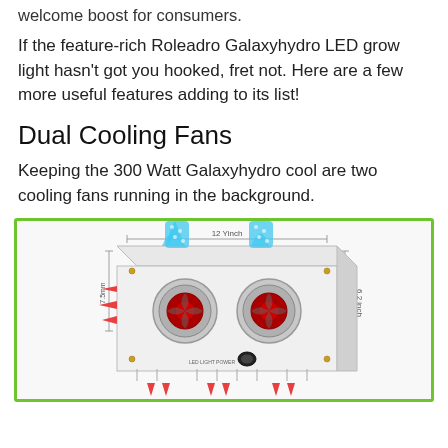welcome boost for consumers.
If the feature-rich Roleadro Galaxyhydro LED grow light hasn't got you hooked, fret not. Here are a few more useful features adding to its list!
Dual Cooling Fans
Keeping the 300 Watt Galaxyhydro cool are two cooling fans running in the background.
[Figure (photo): Image of Roleadro Galaxyhydro LED grow light showing the back panel with two cooling fans emitting blue airflow, red exhaust arrows on the sides and bottom, with dimension labels '12 Yinch' across the top and '6.2 inch' on the right side. The device is white and shown in a 3D perspective view.]